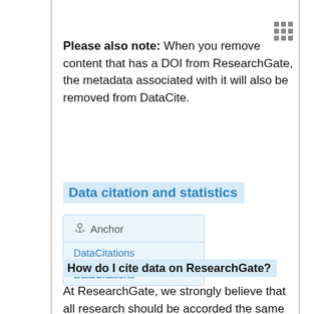Please also note: When you remove content that has a DOI from ResearchGate, the metadata associated with it will also be removed from DataCite.
Data citation and statistics
[Figure (other): Box with anchor icon and two DataCitations links]
How do I cite data on ResearchGate?
At ResearchGate, we strongly believe that all research should be accorded the same status in scholarly record, regardless of